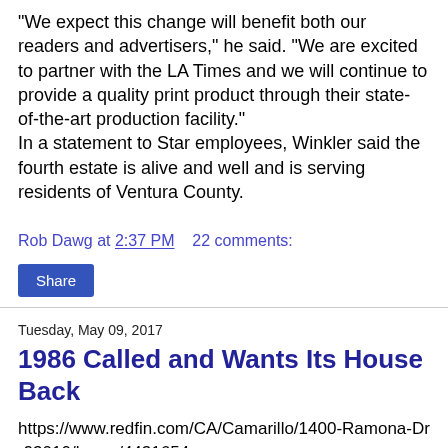“We expect this change will benefit both our readers and advertisers,” he said. “We are excited to partner with the LA Times and we will continue to provide a quality print product through their state-of-the-art production facility.”
In a statement to Star employees, Winkler said the fourth estate is alive and well and is serving residents of Ventura County.
Rob Dawg at 2:37 PM    22 comments:
Share
Tuesday, May 09, 2017
1986 Called and Wants Its House Back
https://www.redfin.com/CA/Camarillo/1400-Ramona-Dr-93010/home/4431654
[Figure (photo): Partial image visible at bottom of page]